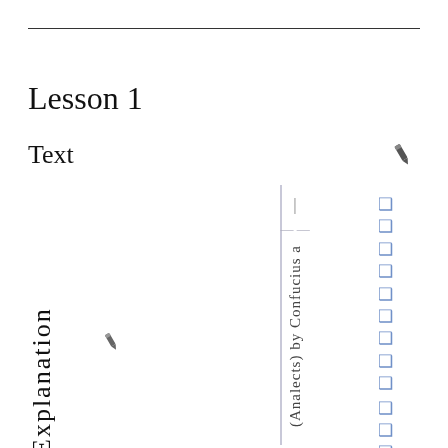Lesson 1
Text
[Figure (illustration): Pencil/edit icon in top right corner]
Explanation
[Figure (illustration): Pencil/edit icon near middle left]
(Analects) by Confucius a
❑❑❑❑❑❑❑❑❑ ❑❑❑